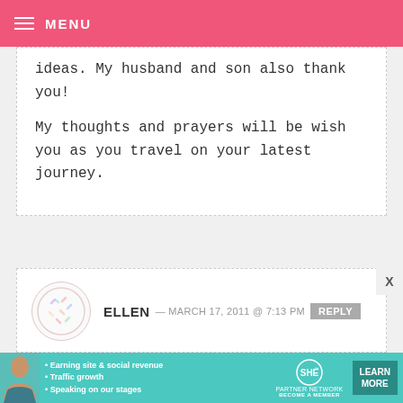MENU
ideas. My husband and son also thank you!

My thoughts and prayers will be wish you as you travel on your latest journey.
ELLEN — MARCH 17, 2011 @ 7:13 PM REPLY

So happy to hear you are home. My God give you strength as you continue
[Figure (infographic): SHE Partner Network advertisement banner with photo of woman, bullet points about Earning site & social revenue, Traffic growth, Speaking on our stages, and LEARN MORE button]